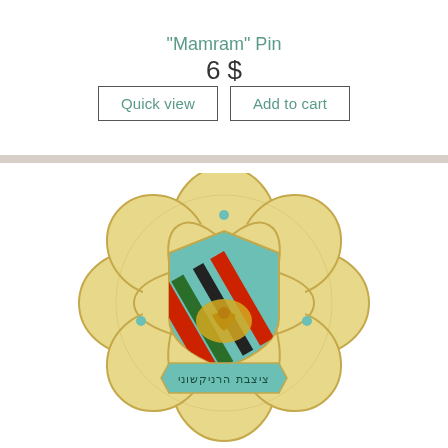"Mamram" Pin
6 $
[Figure (photo): A military/unit pin badge showing a flower-shaped gold enamel design with an atom orbit motif surrounding a central shield. The shield has a teal/blue background with red, green, and black diagonal stripes and a golden eagle/bird emblem. At the bottom is a teal banner with Hebrew text reading the unit name.]